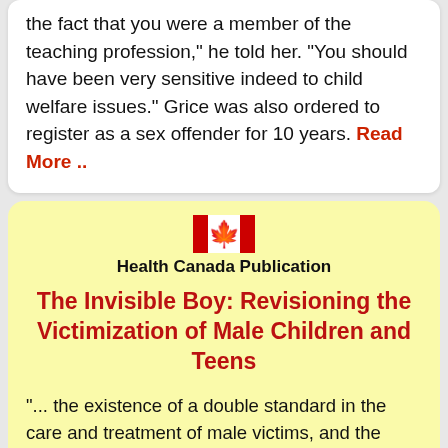the fact that you were a member of the teaching profession," he told her. "You should have been very sensitive indeed to child welfare issues." Grice was also ordered to register as a sex offender for 10 years. Read More ..
[Figure (logo): Canadian flag maple leaf icon in red and white]
Health Canada Publication
The Invisible Boy: Revisioning the Victimization of Male Children and Teens
"... the existence of a double standard in the care and treatment of male victims, and the inv... and normalization of violence and abuse toward